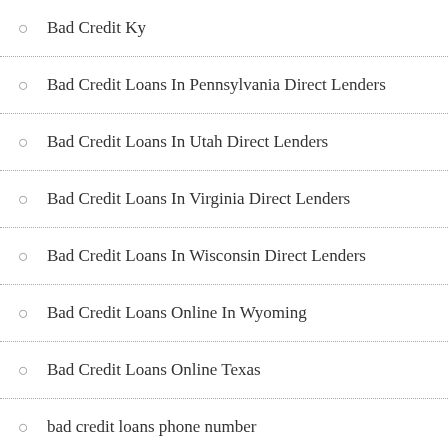Bad Credit Ky
Bad Credit Loans In Pennsylvania Direct Lenders
Bad Credit Loans In Utah Direct Lenders
Bad Credit Loans In Virginia Direct Lenders
Bad Credit Loans In Wisconsin Direct Lenders
Bad Credit Loans Online In Wyoming
Bad Credit Loans Online Texas
bad credit loans phone number
Bad Credit Ne
Bad Credit Ohio
Bad Credit Online In Louisiana